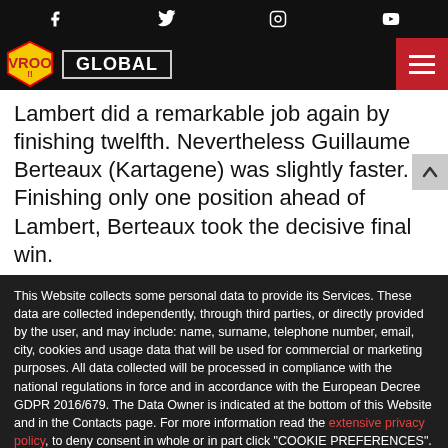Social icons: Facebook, Twitter, Instagram, YouTube
VROOM GLOBAL [navigation bar with hamburger menu]
Lambert did a remarkable job again by finishing twelfth. Nevertheless Guillaume Berteaux (Kartagene) was slightly faster. Finishing only one position ahead of Lambert, Berteaux took the decisive final win.
This Website collects some personal data to provide its Services. These data are collected independently, through third parties, or directly provided by the user, and may include: name, surname, telephone number, email, city, cookies and usage data that will be used for commercial or marketing purposes. All data collected will be processed in compliance with the national regulations in force and in accordance with the European Decree GDPR 2016/679. The Data Owner is indicated at the bottom of this Website and in the Contacts page. For more information read the extensive privacy policy, to deny consent in whole or in part click "COOKIE PREFERENCES". COOKIE PREFERENCES
AGREE  No, thanks
WWW.GALITTAKARI.II